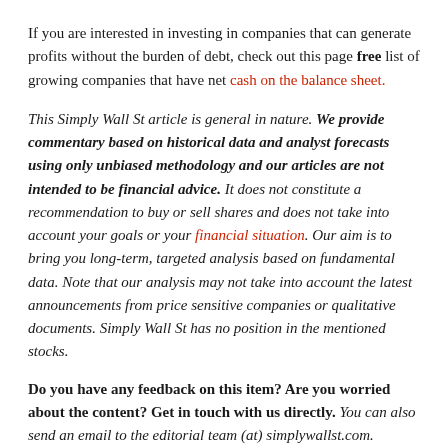If you are interested in investing in companies that can generate profits without the burden of debt, check out this page free list of growing companies that have net cash on the balance sheet.
This Simply Wall St article is general in nature. We provide commentary based on historical data and analyst forecasts using only unbiased methodology and our articles are not intended to be financial advice. It does not constitute a recommendation to buy or sell shares and does not take into account your goals or your financial situation. Our aim is to bring you long-term, targeted analysis based on fundamental data. Note that our analysis may not take into account the latest announcements from price sensitive companies or qualitative documents. Simply Wall St has no position in the mentioned stocks.
Do you have any feedback on this item? Are you worried about the content? Get in touch with us directly. You can also send an email to the editorial team (at) simplywallst.com.